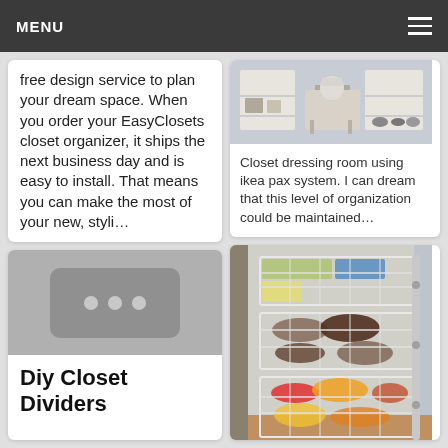MENU
free design service to plan your dream space. When you order your EasyClosets closet organizer, it ships the next business day and is easy to install. That means you can make the most of your new, styli…
[Figure (photo): Closet dressing room with IKEA PAX system showing shelves with shoes and accessories]
Closet dressing room using ikea pax system. I can dream that this level of organization could be maintained…
[Figure (photo): Image placeholder with three dots indicating a loading or missing image]
Diy Closet Dividers
[Figure (photo): Wire baskets mounted inside a closet door storing shoes and sandals]